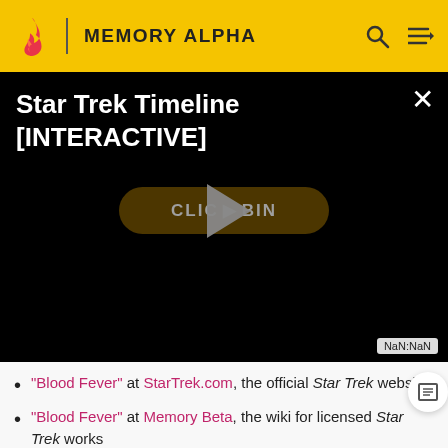MEMORY ALPHA
[Figure (screenshot): Video embed panel with black background showing title 'Star Trek Timeline [INTERACTIVE]', a play button overlay, and a 'CLICK TO BEGIN' button. Shows NaN:NaN timestamp.]
"Blood Fever" at StarTrek.com, the official Star Trek website
"Blood Fever" at Memory Beta, the wiki for licensed Star Trek works
"Blood Fever" at Wikipedia